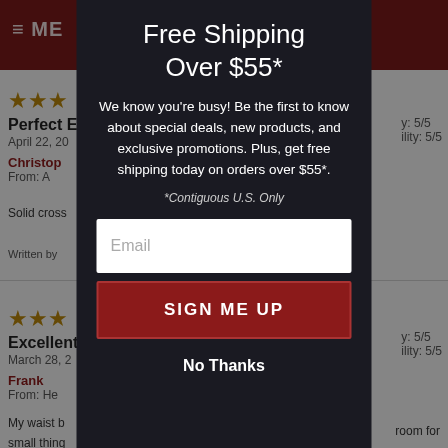[Figure (screenshot): Background of a retail website showing a dark red header bar with hamburger menu icon and text 'ME', cart icon, and product review sections with star ratings, review titles, dates, author names, and review body text partially visible behind a modal overlay.]
Free Shipping Over $55*
We know you’re busy! Be the first to know about special deals, new products, and exclusive promotions. Plus, get free shipping today on orders over $55*.
*Contiguous U.S. Only
Email
SIGN ME UP
No Thanks